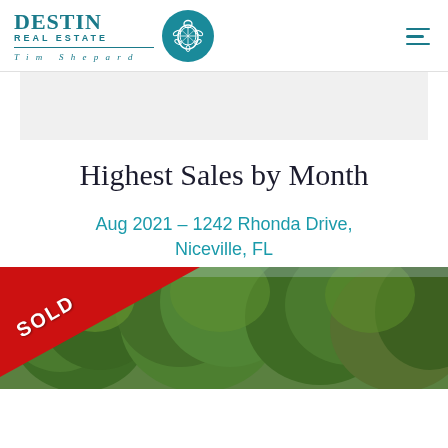[Figure (logo): Destin Real Estate Tim Shepard logo with teal text and turtle circle emblem, plus hamburger menu icon top right]
[Figure (other): Gray placeholder banner image area]
Highest Sales by Month
Aug 2021 – 1242 Rhonda Drive, Niceville, FL
[Figure (photo): Property photo showing trees/foliage with a red SOLD banner overlay in the top-left corner]